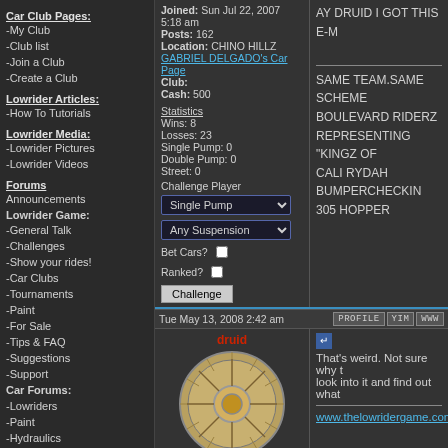Car Club Pages:
-My Club
-Club list
-Join a Club
-Create a Club
Lowrider Articles:
-How To Tutorials
Lowrider Media:
-Lowrider Pictures
-Lowrider Videos
Forums
Announcements
Lowrider Game:
-General Talk
-Challenges
-Show your rides!
-Car Clubs
-Tournaments
-Paint
-For Sale
-Tips & FAQ
-Suggestions
-Support
Car Forums:
-Lowriders
-Paint
-Hydraulics
-Interiors
-Car Modifications
-Engine
-Sounds & Interior
-Rims & Tires
-Car Shows
-Cars and Projects
Joined: Sun Jul 22, 2007 5:18 am
Posts: 162
Location: CHINO HILLZ
GABRIEL DELGADO's Car Page
Club:
Cash: 500
Statistics
Wins: 8
Losses: 23
Single Pump: 0
Double Pump: 0
Street: 0
Challenge Player
AY DRUID I GOT THIS E-M
SAME TEAM.SAME SCHEME
BOULEVARD RIDERZ
REPRESENTING "KINGZ OF
CALI RYDAH
BUMPERCHECKIN
305 HOPPER
Tue May 13, 2008 2:42 am
That's weird. Not sure why t
look into it and find out what

www.thelowridergame.com
Joined: Mon Feb 12, 2007 6:48 am
Posts: 1833
Location: Los Angeles